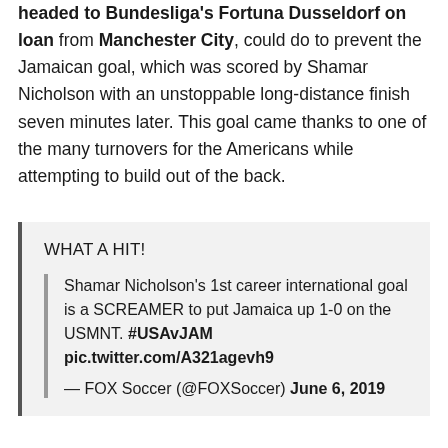headed to Bundesliga's Fortuna Dusseldorf on loan from Manchester City, could do to prevent the Jamaican goal, which was scored by Shamar Nicholson with an unstoppable long-distance finish seven minutes later. This goal came thanks to one of the many turnovers for the Americans while attempting to build out of the back.
WHAT A HIT!

Shamar Nicholson's 1st career international goal is a SCREAMER to put Jamaica up 1-0 on the USMNT. #USAvJAM pic.twitter.com/A321agevh9

— FOX Soccer (@FOXSoccer) June 6, 2019